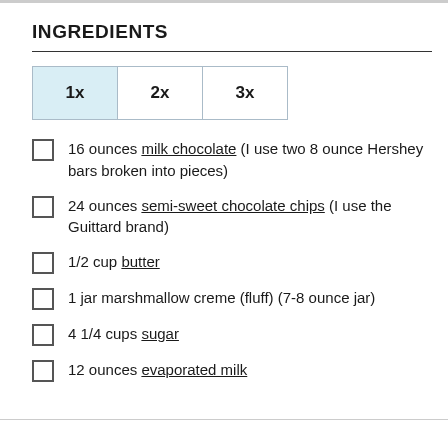INGREDIENTS
| 1x | 2x | 3x |
| --- | --- | --- |
16 ounces milk chocolate (I use two 8 ounce Hershey bars broken into pieces)
24 ounces semi-sweet chocolate chips (I use the Guittard brand)
1/2 cup butter
1 jar marshmallow creme (fluff) (7-8 ounce jar)
4 1/4 cups sugar
12 ounces evaporated milk